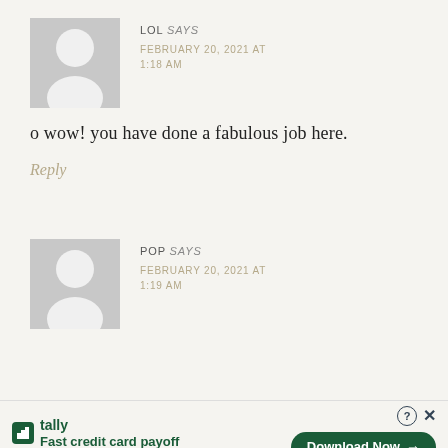[Figure (illustration): Gray avatar placeholder image showing a silhouette of a person (head and shoulders) for user LOL]
LOL says
FEBRUARY 20, 2021 AT 1:18 AM
o wow! you have done a fabulous job here.
Reply
[Figure (illustration): Gray avatar placeholder image showing a silhouette of a person (head and shoulders) for user POP]
POP says
FEBRUARY 20, 2021 AT 1:19 AM
tally
Fast credit card payoff
Download Now →